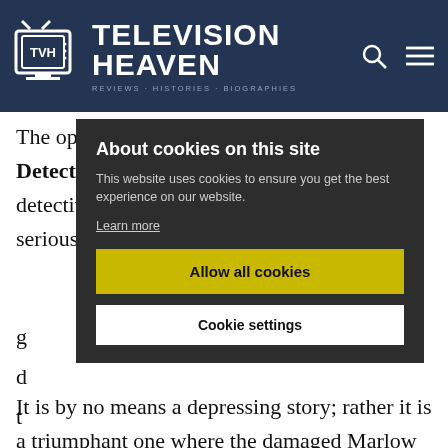Television Heaven
The opening narrative in The Singing Detective is relatively linear. A writer of detective pulp fiction, Philip Marlow, is seriously ill in hospital. As he succumbs to the g...f d... t... b... m... w... p... s...
[Figure (screenshot): Cookie consent overlay dialog with dark background, title 'About cookies on this site', body text, Learn more link, Allow all cookies yellow button, and Cookie settings white button]
It is by no means a depressing story; rather it is a triumphant one where the damaged Marlow conquers his